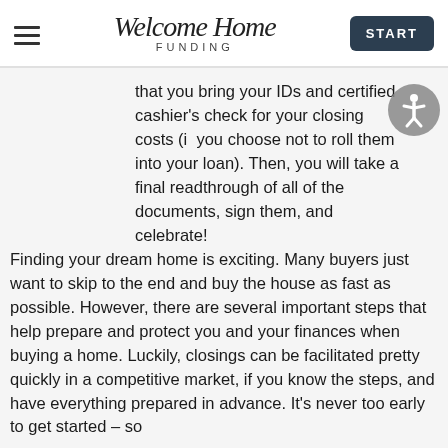Welcome Home Funding — START
that you bring your IDs and certified cashier's check for your closing costs (if you choose not to roll them into your loan). Then, you will take a final readthrough of all of the documents, sign them, and celebrate!
Finding your dream home is exciting. Many buyers just want to skip to the end and buy the house as fast as possible. However, there are several important steps that help prepare and protect you and your finances when buying a home. Luckily, closings can be facilitated pretty quickly in a competitive market, if you know the steps, and have everything prepared in advance. It's never too early to get started – so